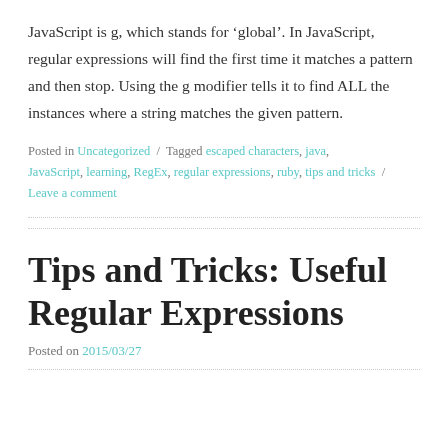JavaScript is g, which stands for ‘global’. In JavaScript, regular expressions will find the first time it matches a pattern and then stop. Using the g modifier tells it to find ALL the instances where a string matches the given pattern.
Posted in Uncategorized / Tagged escaped characters, java, JavaScript, learning, RegEx, regular expressions, ruby, tips and tricks / Leave a comment
Tips and Tricks: Useful Regular Expressions
Posted on 2015/03/27